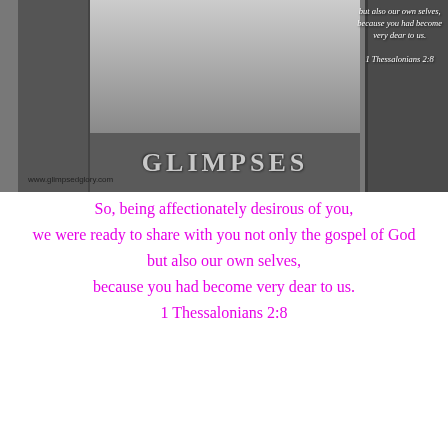[Figure (photo): Black and white photo of old barn doors open to a wintry landscape, with a 'GLIMPSES' sign in the center and a scripture verse overlay in the top right corner. URL www.glimpsedglory.com watermarked at bottom left.]
So, being affectionately desirous of you,

we were ready to share with you not only the gospel of God

but also our own selves,

because you had become very dear to us.

1 Thessalonians 2:8